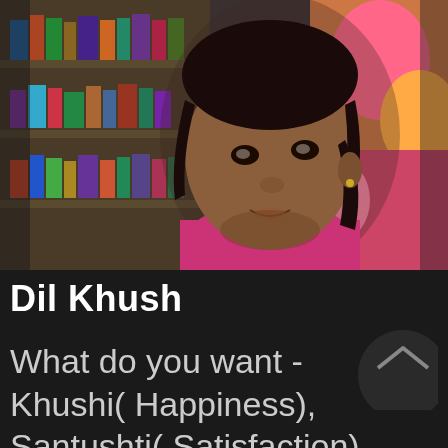[Figure (photo): A young man with dark hair wearing a pink shirt, seated in front of a bookshelf with colorful books. The background also shows colorful artwork on the right side.]
Dil Khush
What do you want - Khushi( Happiness), Santushti( Satisfaction)